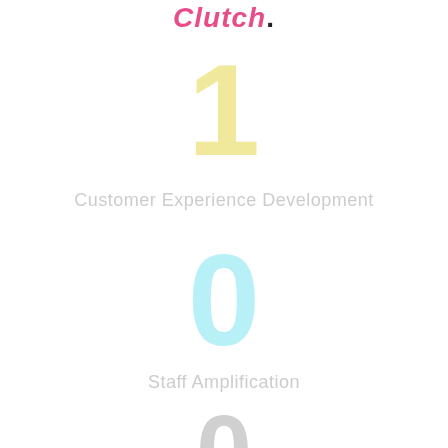[Figure (logo): Clutch logo in italic pink bold text with a dark dot]
1
Customer Experience Development
0
Staff Amplification
0
Business Consulting